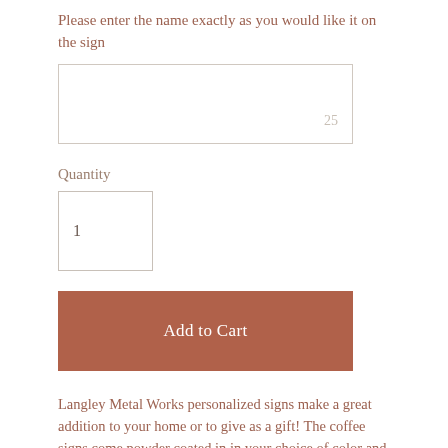Please enter the name exactly as you would like it on the sign
[Figure (other): Text input field with placeholder '25']
Quantity
[Figure (other): Quantity input field showing value '1']
[Figure (other): Add to Cart button]
Langley Metal Works personalized signs make a great addition to your home or to give as a gift! The coffee signs come powder coated in in your choice of color and in four standard sizes.  All of our producst are made in our Texas shop by a